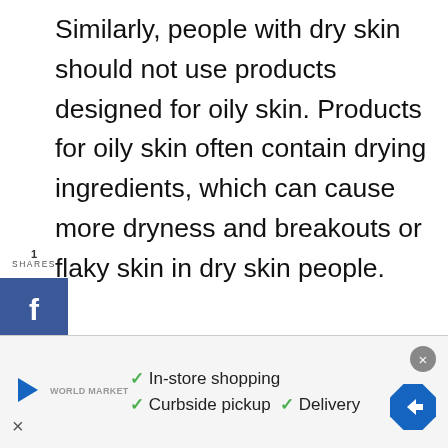Similarly, people with dry skin should not use products designed for oily skin. Products for oily skin often contain drying ingredients, which can cause more dryness and breakouts or flaky skin in dry skin people.
Can Your Skin Type Change From Oily To Dry (And Vice Versa)?
[Figure (other): Advertisement banner with play button, World Market logo, checkmarks for In-store shopping, Curbside pickup, Delivery, navigation icon, and close button]